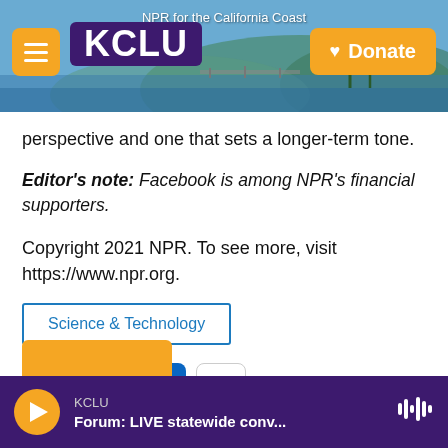[Figure (screenshot): KCLU NPR for the California Coast website header with logo, hamburger menu, and Donate button over a coastal background photo]
perspective and one that sets a longer-term tone.
Editor's note: Facebook is among NPR's financial supporters.
Copyright 2021 NPR. To see more, visit https://www.npr.org.
Science & Technology
[Figure (infographic): Social sharing icons: Facebook, Twitter, LinkedIn, Email]
KCLU — Forum: LIVE statewide conv...